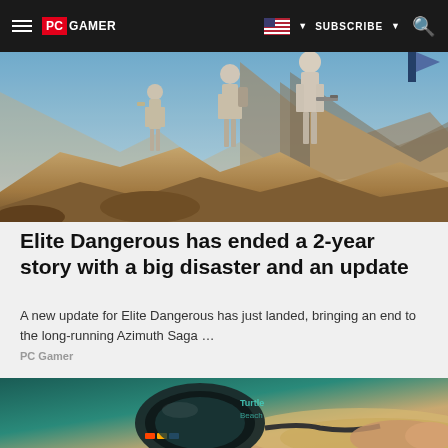PC GAMER | SUBSCRIBE
[Figure (photo): Three armored soldiers/figures walking on rocky terrain with mountains and blue sky in background, from Elite Dangerous game]
Elite Dangerous has ended a 2-year story with a big disaster and an update
A new update for Elite Dangerous has just landed, bringing an end to the long-running Azimuth Saga …
PC Gamer
[Figure (photo): Close-up of gaming headset with colorful LED lights and cable on teal/sandy background]